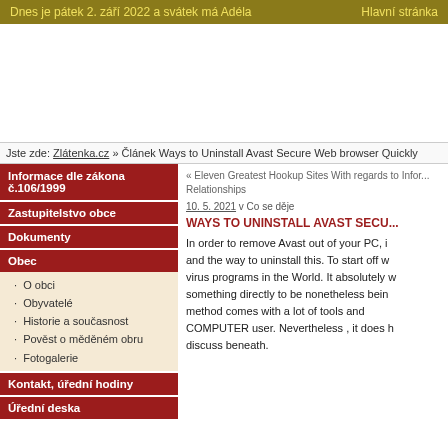Dnes je pátek 2. září 2022 a svátek má Adéla    Hlavní stránka
[Figure (other): Advertisement/banner area (blank white space)]
Jste zde: Zlátenka.cz » Článek Ways to Uninstall Avast Secure Web browser Quickly
Informace dle zákona č.106/1999
Zastupitelstvo obce
Dokumenty
Obec
O obci
Obyvatelé
Historie a současnost
Pověst o měděném obru
Fotogalerie
Kontakt, úřední hodiny
Úřední deska
« Eleven Greatest Hookup Sites With regards to Informal Relationships
10. 5. 2021 v Co se děje
WAYS TO UNINSTALL AVAST SECU...
In order to remove Avast out of your PC, it and the way to uninstall this. To start off w virus programs in the World. It absolutely w something directly to be nonetheless bein method comes with a lot of tools and COMPUTER user. Nevertheless , it does h discuss beneath.